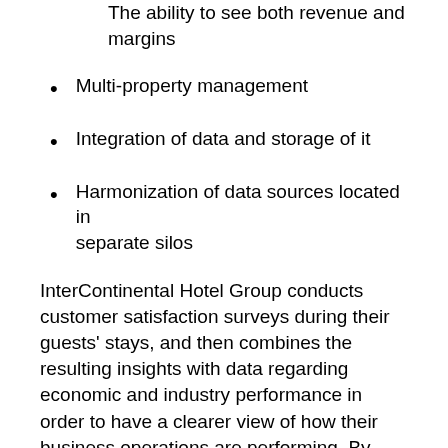The ability to see both revenue and margins
Multi-property management
Integration of data and storage of it
Harmonization of data sources located in separate silos
InterContinental Hotel Group conducts customer satisfaction surveys during their guests' stays, and then combines the resulting insights with data regarding economic and industry performance in order to have a clearer view of how their business operations are performing. By taking this method, InterContinental is able to have a better understanding of the internal and